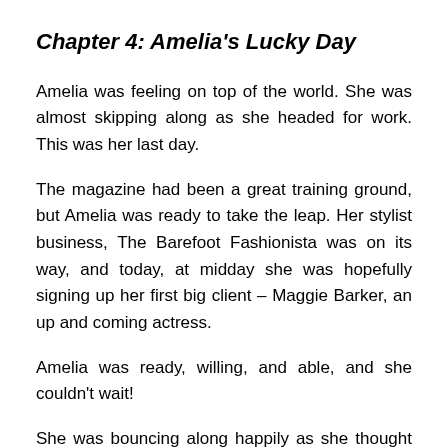Chapter 4: Amelia's Lucky Day
Amelia was feeling on top of the world. She was almost skipping along as she headed for work. This was her last day.
The magazine had been a great training ground, but Amelia was ready to take the leap. Her stylist business, The Barefoot Fashionista was on its way, and today, at midday she was hopefully signing up her first big client – Maggie Barker, an up and coming actress.
Amelia was ready, willing, and able, and she couldn't wait!
She was bouncing along happily as she thought of the meeting. She was smiling at everyone she passed. As she got closer to the office, she waved to the pop-up coffee